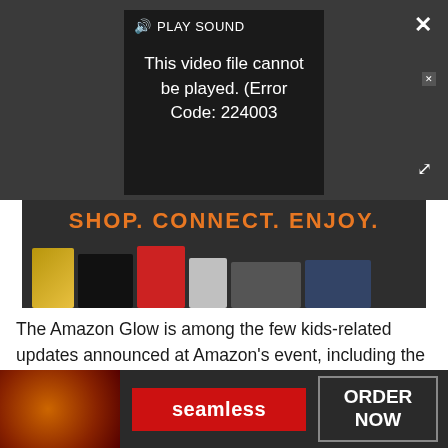[Figure (screenshot): Video player with dark background showing error: 'PLAY SOUND' toolbar with speaker icon, and error message 'This video file cannot be played. (Error Code: 224003)'. Close (X) button top right, expand arrows bottom right.]
[Figure (screenshot): Amazon advertisement banner with orange text 'SHOP. CONNECT. ENJOY.' and product images including a bag, PS4, red mixer, cups, laptop, and Blu-ray/movie items on dark background.]
The Amazon Glow is among the few kids-related updates announced at Amazon's event, including the new voice assistant from Disney that will let kids interact with their favorite Disney characters through Alexa devices, and new additions to Amazon Kids+ like LEGO Monkie Kid and the new Super Spy Ryan game.
[Figure (screenshot): Seamless food delivery advertisement banner showing pizza on left, red 'seamless' button in center, and dark 'ORDER NOW' button on right.]